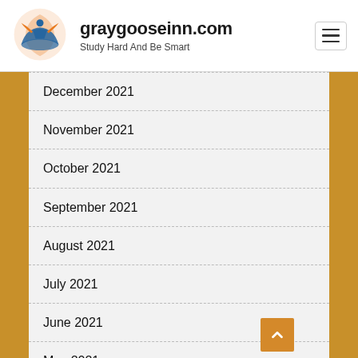graygooseinn.com — Study Hard And Be Smart
December 2021
November 2021
October 2021
September 2021
August 2021
July 2021
June 2021
May 2021
April 2021